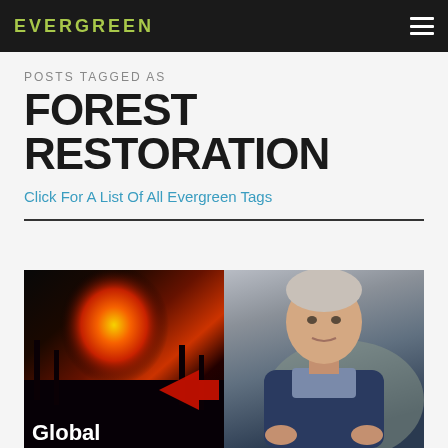EVERGREEN
POSTS TAGGED AS
FOREST RESTORATION
Click For A List Of All Evergreen Tags
[Figure (photo): Composite image: left half shows a wildfire with bright orange flames against dark sky with a red arrow graphic and 'Global' text overlay; right half shows an older white-haired man in a blue jacket speaking outdoors]